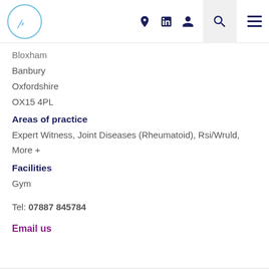Navigation header with logo and icons
Bloxham
Banbury
Oxfordshire
OX15 4PL
Areas of practice
Expert Witness, Joint Diseases (Rheumatoid), Rsi/Wruld,
More +
Facilities
Gym
Tel: 07887 845784
Email us